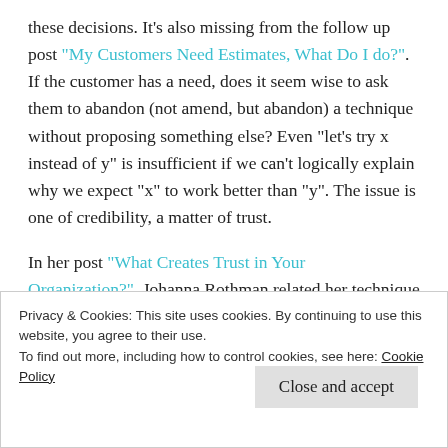these decisions. It's also missing from the follow up post "My Customers Need Estimates, What Do I do?". If the customer has a need, does it seem wise to ask them to abandon (not amend, but abandon) a technique without proposing something else? Even "let's try x instead of y" is insufficient if we can't logically explain why we expect "x" to work better than "y". The issue is one of credibility, a matter of trust.
In her post "What Creates Trust in Your Organization?", Johanna Rothman related her technique for creating trust:
Privacy & Cookies: This site uses cookies. By continuing to use this website, you agree to their use.
To find out more, including how to control cookies, see here: Cookie Policy